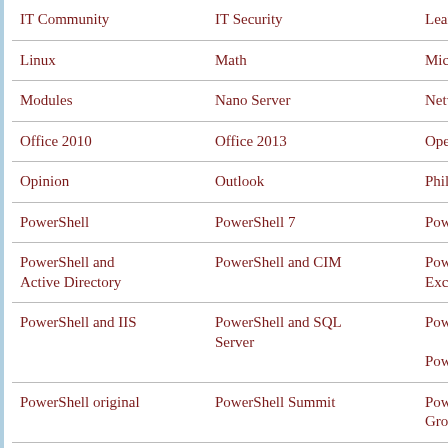IT Community
IT Security
Learning P…
Linux
Math
Microsoft…
Modules
Nano Server
Networkin…
Office 2010
Office 2013
Open Sour…
Opinion
Outlook
Philosophy…
PowerShell
PowerShell 7
PowerShel…
PowerShell and Active Directory
PowerShell and CIM
PowerShel… Exchange
PowerShell and IIS
PowerShell and SQL Server
PowerShel…
PowerShell original
PowerShell Summit
PowerShel… Group
PowerShell User Group 2
PowerShell v2
PowerShel…
PowerShell v4
PowerShel…